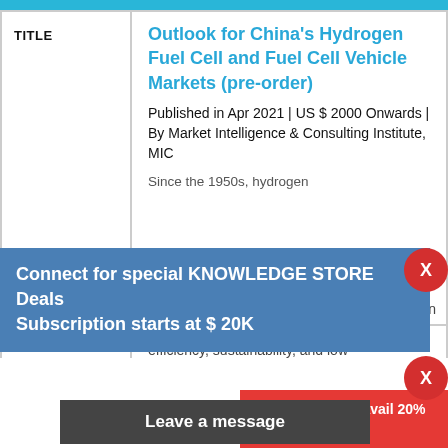| TITLE | Details |
| --- | --- |
| TITLE | Outlook for China's Hydrogen Fuel Cell and Fuel Cell Vehicle Markets (pre-order)
Published in Apr 2021 | US $ 2000 Onwards | By Market Intelligence & Consulting Institute, MIC
Since the 1950s, hydrogen… cell technology advances, fuel cells have been widely adopted due to their high energy efficiency, sustainability, and low… |
Connect for special KNOWLEDGE STORE Deals Subscription starts at $ 20K
Buy Any Report Avail 20% Code:
Leave a message